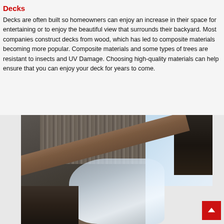Decks
Decks are often built so homeowners can enjoy an increase in their space for entertaining or to enjoy the beautiful view that surrounds their backyard. Most companies construct decks from wood, which has led to composite materials becoming more popular. Composite materials and some types of trees are resistant to insects and UV Damage. Choosing high-quality materials can help ensure that you can enjoy your deck for years to come.
[Figure (photo): An angled photograph of a deck or building structure showing vertical pipes/columns at the top, a diagonal wooden beam, dark window structures on the right side, a blue-gray sky in the upper right, and what appears to be plastic wrap or ice covering in the lower central area.]